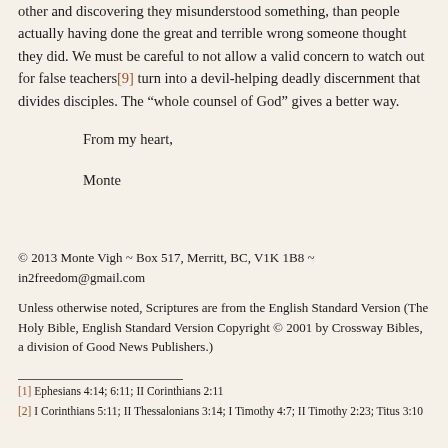other and discovering they misunderstood something, than people actually having done the great and terrible wrong someone thought they did. We must be careful to not allow a valid concern to watch out for false teachers[9] turn into a devil-helping deadly discernment that divides disciples. The “whole counsel of God” gives a better way.
From my heart,
Monte
© 2013 Monte Vigh ~ Box 517, Merritt, BC, V1K 1B8 ~ in2freedom@gmail.com
Unless otherwise noted, Scriptures are from the English Standard Version (The Holy Bible, English Standard Version Copyright © 2001 by Crossway Bibles, a division of Good News Publishers.)
[1] Ephesians 4:14; 6:11; II Corinthians 2:11
[2] I Corinthians 5:11; II Thessalonians 3:14; I Timothy 4:7; II Timothy 2:23; Titus 3:10